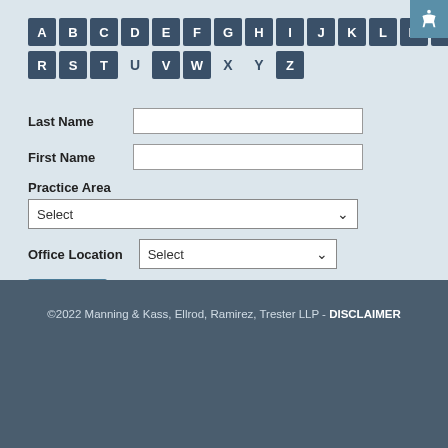[Figure (screenshot): Accessibility icon button in top-right corner with white person/accessibility symbol on blue background]
A B C D E F G H I J K L M N O P Q R S T U V W X Y Z — alphabet navigation with active letters highlighted in dark blue boxes
Last Name [input field]
First Name [input field]
Practice Area
Select [dropdown]
Office Location Select [dropdown]
Search [button]
©2022 Manning & Kass, Ellrod, Ramirez, Trester LLP - DISCLAIMER